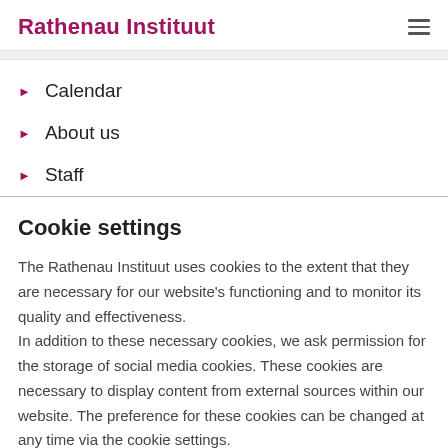Rathenau Instituut
Calendar
About us
Staff
Cookie settings
The Rathenau Instituut uses cookies to the extent that they are necessary for our website's functioning and to monitor its quality and effectiveness. In addition to these necessary cookies, we ask permission for the storage of social media cookies. These cookies are necessary to display content from external sources within our website. The preference for these cookies can be changed at any time via the cookie settings.